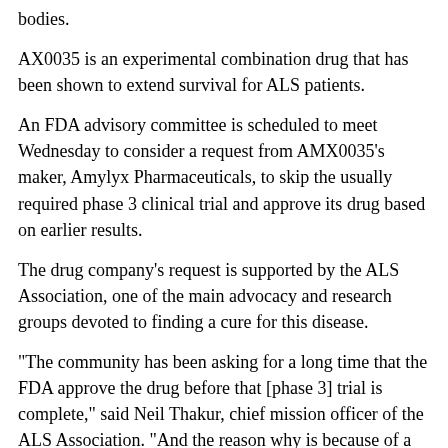bodies.
AX0035 is an experimental combination drug that has been shown to extend survival for ALS patients.
An FDA advisory committee is scheduled to meet Wednesday to consider a request from AMX0035's maker, Amylyx Pharmaceuticals, to skip the usually required phase 3 clinical trial and approve its drug based on earlier results.
The drug company's request is supported by the ALS Association, one of the main advocacy and research groups devoted to finding a cure for this disease.
"The community has been asking for a long time that the FDA approve the drug before that [phase 3] trial is complete," said Neil Thakur, chief mission officer of the ALS Association. "And the reason why is because of a combination of strong clinical benefit and safety data that we've seen for this this drug."
AMX0035 has been shown in early clinical trials to extend ALS patients' lives by about six and a half months, Thakur said.
The drug also slows disease progression in patients by about 25%, said Dr. James Berry, director of the Massachusetts General Hospital's Neurological Clinical Research Institute in Boston and a